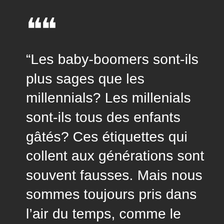“Les baby-boomers sont-ils plus sages que les millennials? Les millenials sont-ils tous des enfants gâtés? Ces étiquettes qui collent aux générations sont souvent fausses. Mais nous sommes toujours pris dans l’air du temps, comme le rappelle la définition sociologique du terme «génération»: groupe d’âge façonné par des événements et des influences historiques et